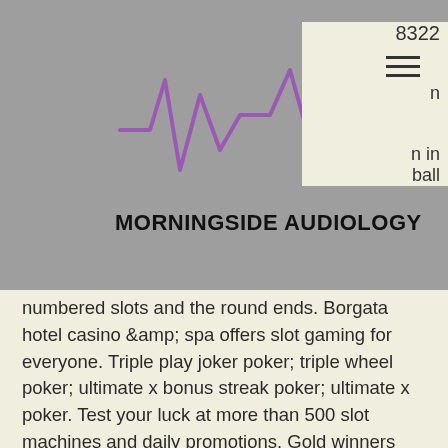[Figure (logo): Morningside Audiology logo with purple heartbeat/waveform graphic and text 'MORNINGSIDE AUDIOLOGY' on grey background]
numbered slots and the round ends. Borgata hotel casino &amp; spa offers slot gaming for everyone. Triple play joker poker; triple wheel poker; ultimate x bonus streak poker; ultimate x poker. Test your luck at more than 500 slot machines and daily promotions. Gold winners bonus times golden age. With just 3 reels, 3 rows, 5 win lines and a bonus wheel feature, golden wheel is taking players back to the core of what slots are really all about. Free online slots games bonus rounds no download You'll receive a special free bonus gift every year for as long as you. Enjoy fun legacy rewards - spin the bonus wheel, guess the vegas trivia and win big